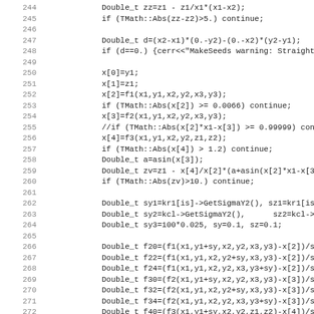Code listing, lines 244-275, C++ source code with numerical computation routines involving Double_t variables, TMath::Abs calls, trigonometric functions, and sigma/uncertainty calculations.